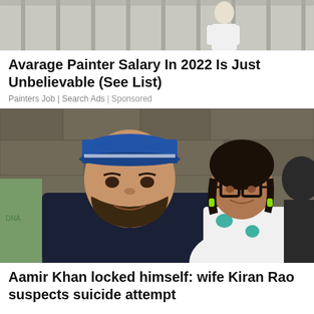[Figure (photo): Top portion of an advertisement image showing a person in a white outfit, partial view, with a railing in the background.]
Avarage Painter Salary In 2022 Is Just Unbelievable (See List)
Painters Job | Search Ads | Sponsored
[Figure (photo): Aamir Khan wearing a blue cap and dark navy t-shirt standing next to wife Kiran Rao who is wearing glasses and a white top with teal spots, photographed against a stone wall background.]
Aamir Khan locked himself: wife Kiran Rao suspects suicide attempt